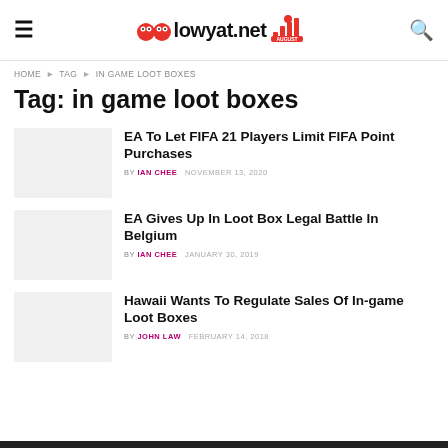lowyat.net
HOME > TAG > IN GAME LOOT BOXES
Tag: in game loot boxes
EA To Let FIFA 21 Players Limit FIFA Point Purchases | BY IAN CHEE  NOVEMBER 13, 2020
EA Gives Up In Loot Box Legal Battle In Belgium | BY IAN CHEE  JANUARY 30, 2019
Hawaii Wants To Regulate Sales Of In-game Loot Boxes | BY JOHN LAW  FEBRUARY 14, 2018